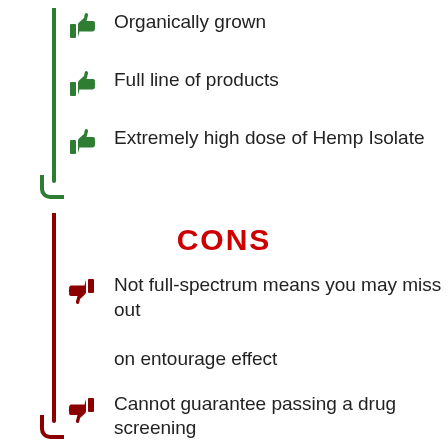Organically grown
Full line of products
Extremely high dose of Hemp Isolate
CONS
Not full-spectrum means you may miss out on entourage effect
Cannot guarantee passing a drug screening